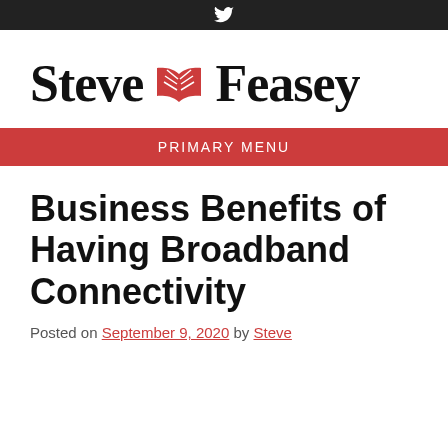Twitter icon navigation bar
[Figure (logo): Steve Feasey website logo with open book icon in red between Steve and Feasey in bold serif font]
PRIMARY MENU
Business Benefits of Having Broadband Connectivity
Posted on September 9, 2020 by Steve